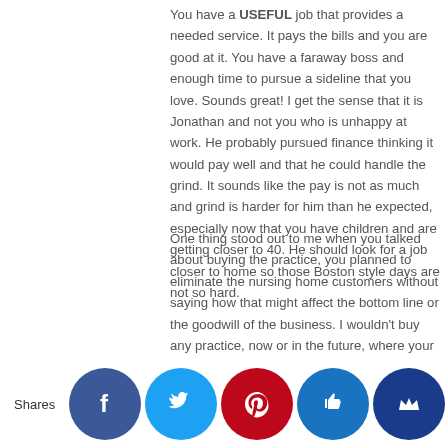You have a USEFUL job that provides a needed service. It pays the bills and you are good at it. You have a faraway boss and enough time to pursue a sideline that you love. Sounds great! I get the sense that it is Jonathan and not you who is unhappy at work. He probably pursued finance thinking it would pay well and that he could handle the grind. It sounds like the pay is not as much and grind is harder for him than he expected, especially now that you have children and are getting closer to 40. He should look for a job closer to home so those Boston style days are not so hard.
One thing stood out to me when you talked about buying the practice, you planned to eliminate the nursing home customers without saying how that might affect the bottom line or the goodwill of the business. I wouldn't buy any practice, now or in the future, where your priority is to eliminate existing customers.
The baby should be a heart decision. How would Jonathan and you feel if you were pregnant right now? There's your answer. Go ahead!
Shares